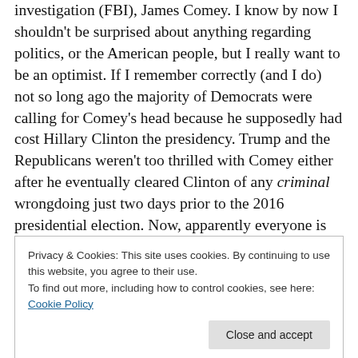investigation (FBI), James Comey. I know by now I shouldn't be surprised about anything regarding politics, or the American people, but I really want to be an optimist. If I remember correctly (and I do) not so long ago the majority of Democrats were calling for Comey's head because he supposedly had cost Hillary Clinton the presidency. Trump and the Republicans weren't too thrilled with Comey either after he eventually cleared Clinton of any criminal wrongdoing just two days prior to the 2016 presidential election. Now, apparently everyone is enamored with James Comey. Oh my, how things quickly change when
Privacy & Cookies: This site uses cookies. By continuing to use this website, you agree to their use.
To find out more, including how to control cookies, see here: Cookie Policy
State. The matter had seemingly been put to rest, but